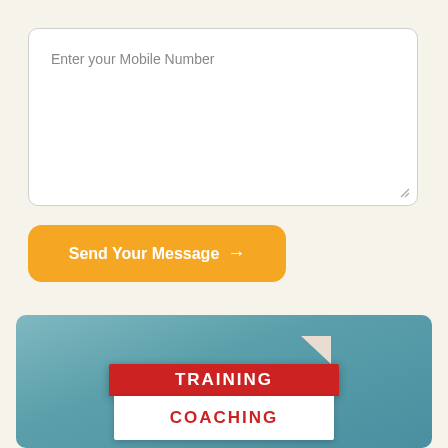Enter your Mobile Number
Send Your Message →
[Figure (photo): Stack of two books: a red book on top labeled TRAINING and a white book on bottom labeled COACHING in red text, against a teal/blue-grey background]